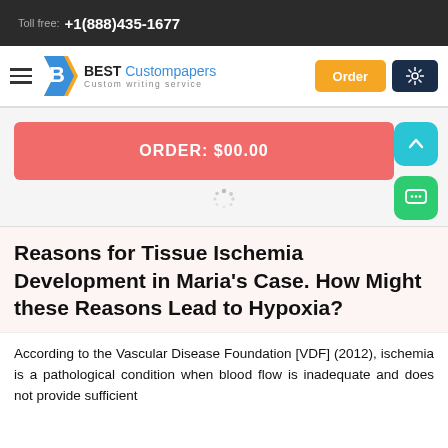Toll free: +1(888)435-1677
[Figure (logo): BESTCustompapers logo with navigation bar including Order button and settings button]
[Figure (screenshot): Order section with red ORDER: $00.00 button, scroll-up arrow button, spinner, and chat button]
Reasons for Tissue Ischemia Development in Maria's Case. How Might these Reasons Lead to Hypoxia?
According to the Vascular Disease Foundation [VDF] (2012), ischemia is a pathological condition when blood flow is inadequate and does not provide sufficient